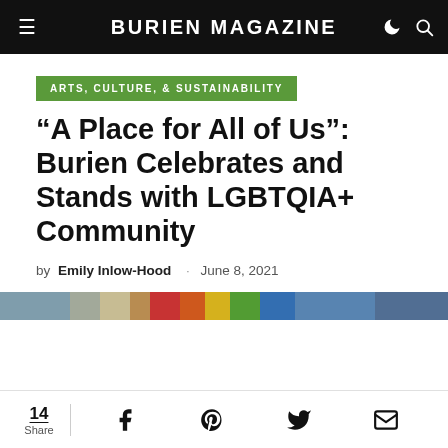BURIEN MAGAZINE
ARTS, CULTURE, & SUSTAINABILITY
“A Place for All of Us”: Burien Celebrates and Stands with LGBTQIA+ Community
by Emily Inlow-Hood · June 8, 2021
[Figure (photo): Colorful image strip showing a pride rainbow flag and blue toned background, cropped as a narrow horizontal band]
14 Share